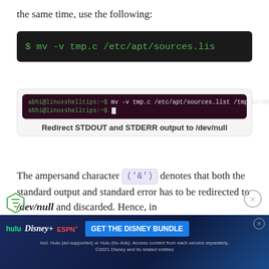the same time, use the following:
[Figure (screenshot): Dark terminal code block showing: $ mv -v tmp.c /etc/apt/sources.lis (truncated)]
[Figure (screenshot): Terminal window showing command: abhi@linuxshelltips:~$ mv -v tmp.c /etc/apt/sources.list /tmp &>/dev/null, then prompt abhi@linuxshelltips:~$]
Redirect STDOUT and STDERR output to /dev/null
The ampersand character ('&') denotes that both the standard output and standard error has to be redirected to /dev/null and discarded. Hence, in the la... printe...
[Figure (infographic): Disney Bundle advertisement banner: hulu Disney+ ESPN+ GET THE DISNEY BUNDLE. Incl. Hulu (ad-supported) or Hulu (No Ads). Access content from each service separately. ©2021 Disney and its related entities]